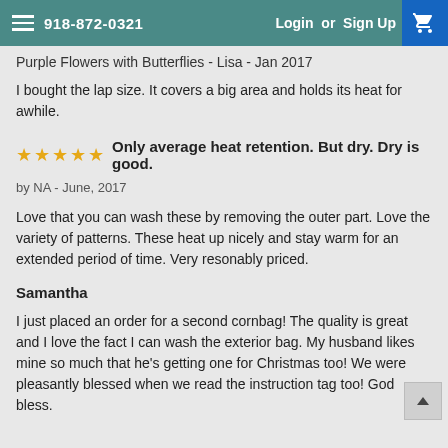918-872-0321   Login or Sign Up
Purple Flowers with Butterflies - Lisa - Jan 2017
I bought the lap size. It covers a big area and holds its heat for awhile.
★★★★★ Only average heat retention. But dry. Dry is good.
by NA - June, 2017
Love that you can wash these by removing the outer part. Love the variety of patterns. These heat up nicely and stay warm for an extended period of time. Very resonably priced.
Samantha
I just placed an order for a second cornbag! The quality is great and I love the fact I can wash the exterior bag. My husband likes mine so much that he's getting one for Christmas too! We were pleasantly blessed when we read the instruction tag too! God bless.